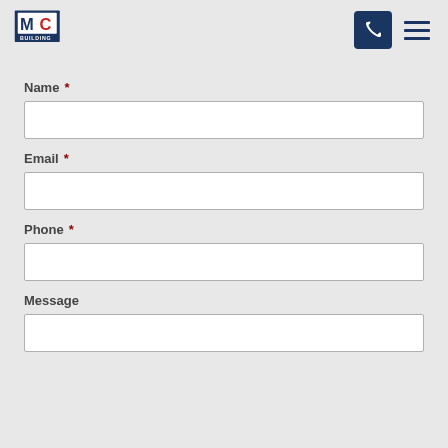MC Building logo with phone and menu icons
Name *
Email *
Phone *
Message